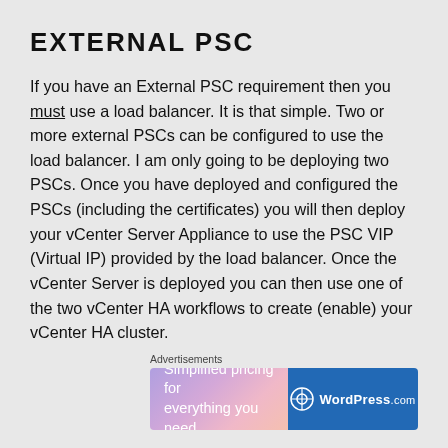EXTERNAL PSC
If you have an External PSC requirement then you must use a load balancer. It is that simple. Two or more external PSCs can be configured to use the load balancer. I am only going to be deploying two PSCs. Once you have deployed and configured the PSCs (including the certificates) you will then deploy your vCenter Server Appliance to use the PSC VIP (Virtual IP) provided by the load balancer. Once the vCenter Server is deployed you can then use one of the two vCenter HA workflows to create (enable) your vCenter HA cluster.
Advertisements
[Figure (other): WordPress.com advertisement banner: 'Simplified pricing for everything you need.' with WordPress.com logo on blue background, gradient pink-purple left panel.]